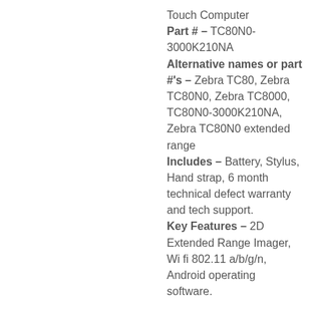Touch Computer
Part # – TC80N0-3000K210NA
Alternative names or part #'s – Zebra TC80, Zebra TC80N0, Zebra TC8000, TC80N0-3000K210NA, Zebra TC80N0 extended range
Includes – Battery, Stylus, Hand strap, 6 month technical defect warranty and tech support.
Key Features – 2D Extended Range Imager, Wi fi 802.11 a/b/g/n, Android operating software.